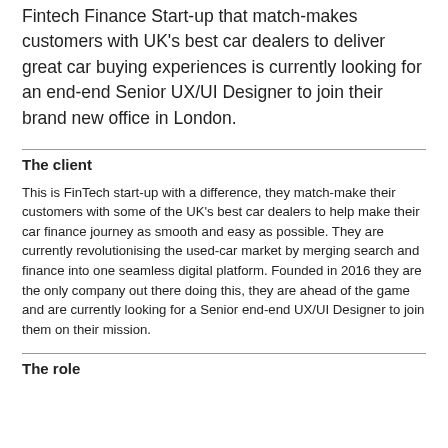Fintech Finance Start-up that match-makes customers with UK's best car dealers to deliver great car buying experiences is currently looking for an end-end Senior UX/UI Designer to join their brand new office in London.
The client
This is FinTech start-up with a difference, they match-make their customers with some of the UK's best car dealers to help make their car finance journey as smooth and easy as possible. They are currently revolutionising the used-car market by merging search and finance into one seamless digital platform. Founded in 2016 they are the only company out there doing this, they are ahead of the game and are currently looking for a Senior end-end UX/UI Designer to join them on their mission.
The role